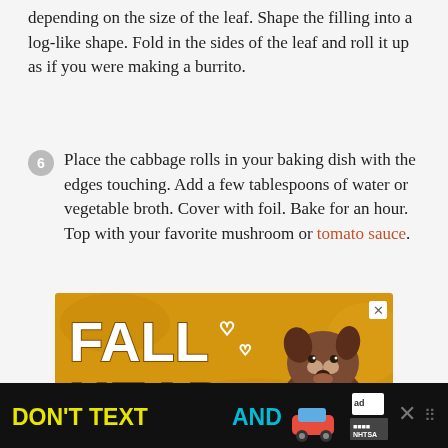depending on the size of the leaf. Shape the filling into a log-like shape. Fold in the sides of the leaf and roll it up as if you were making a burrito.
6  Place the cabbage rolls in your baking dish with the edges touching. Add a few tablespoons of water or vegetable broth. Cover with foil. Bake for an hour. Top with your favorite mushroom or tomato sauce.
[Figure (photo): Advertisement banner showing 'FALL HEAD' text in bold white letters on a golden/yellow background with a brown dog illustration and heart icons]
[Figure (photo): Bottom advertisement bar with 'DON'T TEXT AND' text in yellow and cyan on black background with car emoji and NHTSA ad badge]